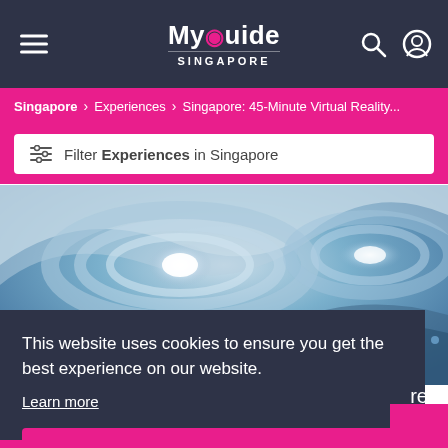My Guide SINGAPORE
Singapore > Experiences > Singapore: 45-Minute Virtual Reality...
Filter Experiences in Singapore
[Figure (photo): Interior photo showing futuristic swirling curved ceiling with glowing lights in blue and white tones, with a blue illuminated background space]
This website uses cookies to ensure you get the best experience on our website. Learn more
Got it!